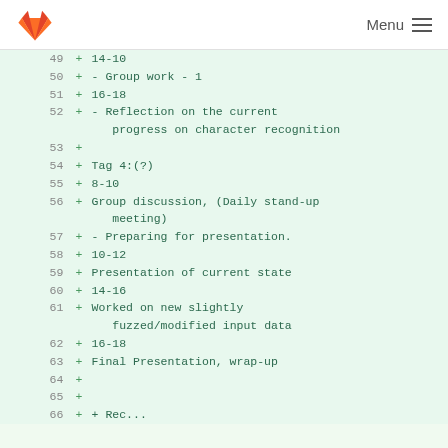GitLab Menu
49  + 14-10
50  + - Group work - 1
51  + 16-18
52  + - Reflection on the current progress on character recognition
53  +
54  + Tag 4:(?)
55  + 8-10
56  + Group discussion, (Daily stand-up meeting)
57  + - Preparing for presentation.
58  + 10-12
59  + Presentation of current state
60  + 14-16
61  + Worked on new slightly fuzzed/modified input data
62  + 16-18
63  + Final Presentation, wrap-up
64  +
65  +
66  + ...